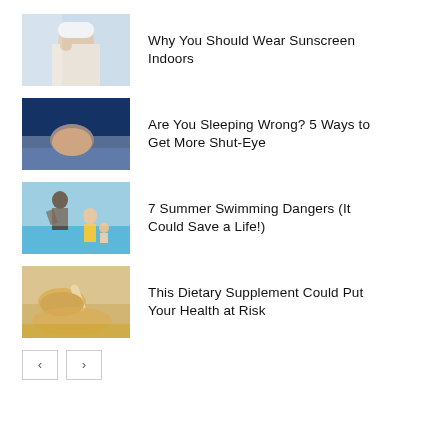Why You Should Wear Sunscreen Indoors
Are You Sleeping Wrong? 5 Ways to Get More Shut-Eye
7 Summer Swimming Dangers (It Could Save a Life!)
This Dietary Supplement Could Put Your Health at Risk